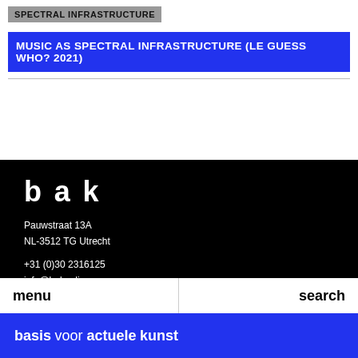SPECTRAL INFRASTRUCTURE
MUSIC AS SPECTRAL INFRASTRUCTURE (LE GUESS WHO? 2021)
[Figure (logo): BAK logo — lowercase letters b a k in white on black background]
Pauwstraat 13A
NL-3512 TG Utrecht

+31 (0)30 2316125
info@bakonline.org

bakonline.org
facebook/BAKutrecht
menu   search
basis voor actuele kunst